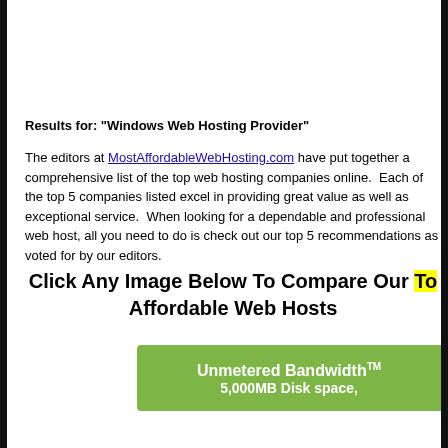Results for: "Windows Web Hosting Provider"
The editors at MostAffordableWebHosting.com have put together a comprehensive list of the top web hosting companies online. Each of the top 5 companies listed excel in providing great value as well as exceptional service. When looking for a dependable and professional web host, all you need to do is check out our top 5 recommendations as voted for by our editors.
Click Any Image Below To Compare Our Top Affordable Web Hosts
[Figure (infographic): Green banner advertising Unmetered Bandwidth and 5,000MB Disk space]